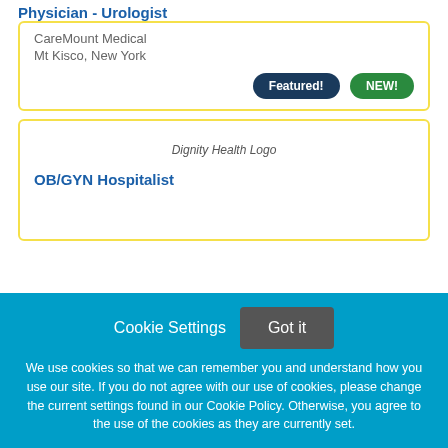Physician - Urologist
CareMount Medical
Mt Kisco, New York
Featured! NEW!
[Figure (logo): Dignity Health Logo placeholder image]
OB/GYN Hospitalist
Cookie Settings  Got it
We use cookies so that we can remember you and understand how you use our site. If you do not agree with our use of cookies, please change the current settings found in our Cookie Policy. Otherwise, you agree to the use of the cookies as they are currently set.